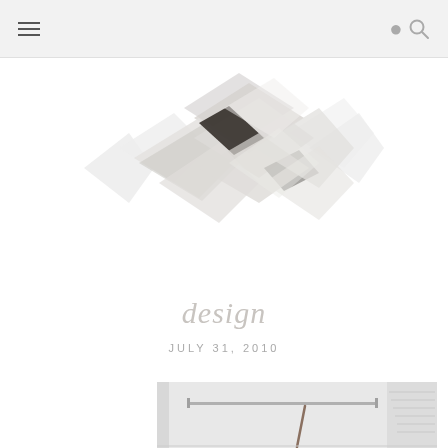[Figure (illustration): Abstract diamond/rhombus mosaic logo made of overlapping rotated rectangles with photographic textures of trees and dark diagonal stripes, forming a horizontal diamond cluster shape]
design
JULY 31, 2010
[Figure (photo): Interior photo of a white empty closet or room with a metal clothes hanging rod and shelving visible, with a broom leaning against the wall]